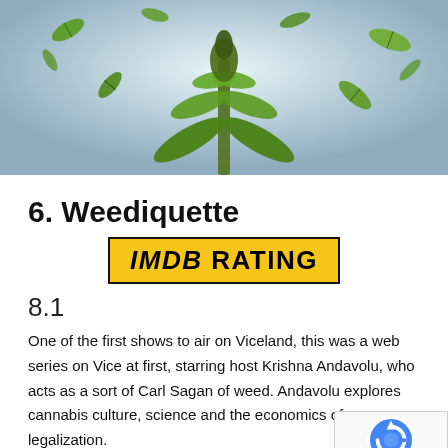[Figure (photo): Cannabis plant with leaves floating against a light blue-grey background]
6. Weediquette
[Figure (logo): IMDb Rating badge - yellow rectangle with black border containing 'IMDb RATING' in bold black text]
8.1
One of the first shows to air on Viceland, this was a web series on Vice at first, starring host Krishna Andavolu, who acts as a sort of Carl Sagan of weed. Andavolu explores cannabis culture, science and the economics of legalization.